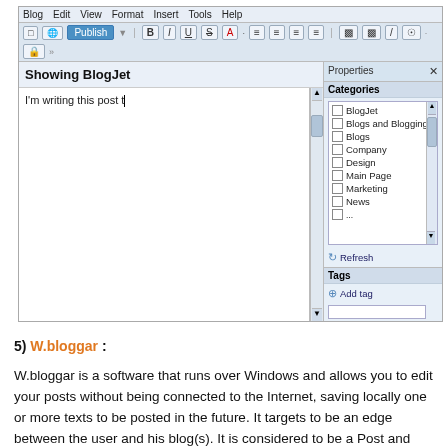[Figure (screenshot): Screenshot of BlogJet blog editing software showing toolbar, post editor with title 'Showing BlogJet' and body text 'I'm writing this post t|', and a Properties panel on the right with Categories list (BlogJet, Blogs and Blogging, Blogs, Company, Design, Main Page, Marketing, News) and Tags section.]
5) W.bloggar :
W.bloggar is a software that runs over Windows and allows you to edit your posts without being connected to the Internet, saving locally one or more texts to be posted in the future. It targets to be an edge between the user and his blog(s). It is considered to be a Post and Template editor, with several features and resources that the browser based blog editors cannot offer.